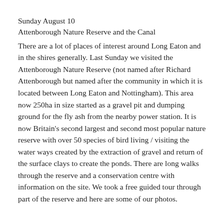Sunday August 10
Attenborough Nature Reserve and the Canal
There are a lot of places of interest around Long Eaton and in the shires generally. Last Sunday we visited the Attenborough Nature Reserve (not named after Richard Attenborough but named after the community in which it is located between Long Eaton and Nottingham). This area now 250ha in size started as a gravel pit and dumping ground for the fly ash from the nearby power station. It is now Britain's second largest and second most popular nature reserve with over 50 species of bird living / visiting the water ways created by the extraction of gravel and return of the surface clays to create the ponds. There are long walks through the reserve and a conservation centre with information on the site. We took a free guided tour through part of the reserve and here are some of our photos.